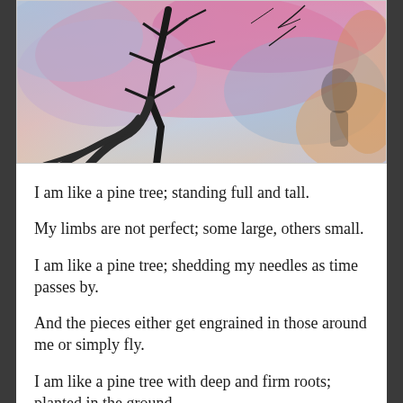[Figure (photo): A colorful tattoo artwork featuring a tree with roots and branches against a vibrant pink, blue, and orange abstract background]
I am like a pine tree; standing full and tall.
My limbs are not perfect; some large, others small.
I am like a pine tree; shedding my needles as time passes by.
And the pieces either get engrained in those around me or simply fly.
I am like a pine tree with deep and firm roots; planted in the ground.
I am made up of the nature, of the world and of the